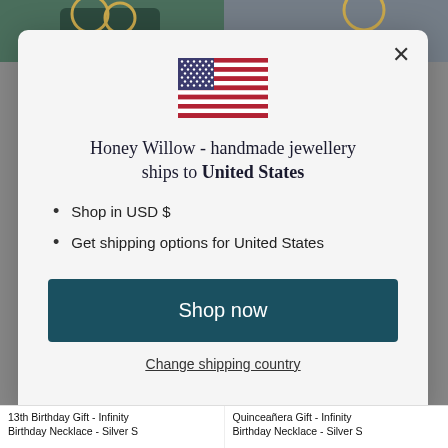[Figure (photo): Two product images side by side at the top — left shows dark green jewelry pouch with gold rings, right shows a person wearing jewelry against a teal background]
[Figure (illustration): US flag icon — rectangular flag with blue canton and white stars, red and white horizontal stripes]
Honey Willow - handmade jewellery ships to United States
Shop in USD $
Get shipping options for United States
Shop now
Change shipping country
13th Birthday Gift - Infinity Birthday Necklace - Silver S
Quinceañera Gift - Infinity Birthday Necklace - Silver S